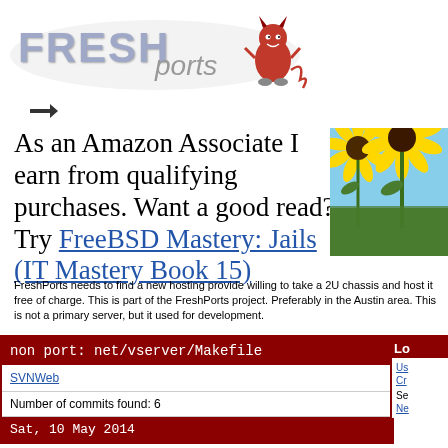[Figure (logo): FreshPorts logo with stylized text and devil mascot character]
[Figure (illustration): Small icon/image near top left below logo]
As an Amazon Associate I earn from qualifying purchases. Want a good read? Try FreeBSD Mastery: Jails (IT Mastery Book 15)
[Figure (photo): Sunflowers photo on the right side]
FreshPorts needs to find a new hosting provide willing to take a 2U chassis and host it free of charge. This is part of the FreshPorts project. Preferably in the Austin area. This is not a primary server, but it used for development.
| non port: net/vserver/Makefile |
| --- |
| SVNWeb |
| Number of commits found: 6 |
Lo
Us
Cr
Se
Ne
Sat, 10 May 2014